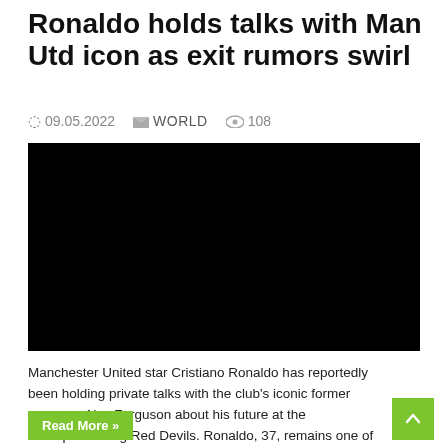Ronaldo holds talks with Man Utd icon as exit rumors swirl
09.05.2022   WORLD   108
[Figure (photo): Black image placeholder for article photo]
Manchester United star Cristiano Ronaldo has reportedly been holding private talks with the club's iconic former manager Alex Ferguson about his future at the underperforming Red Devils. Ronaldo, 37, remains one of the finest finishers in the game but has cut a forlorn figure in recent weeks as Manchester United …
Read More »